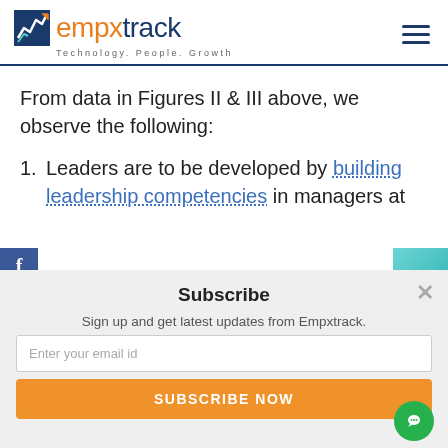[Figure (logo): Empxtrack logo with chart icon and tagline Technology. People. Growth.]
From data in Figures II & III above, we observe the following:
1. Leaders are to be developed by building leadership competencies in managers at
Subscribe
Sign up and get latest updates from Empxtrack.
Enter your email id
SUBSCRIBE NOW